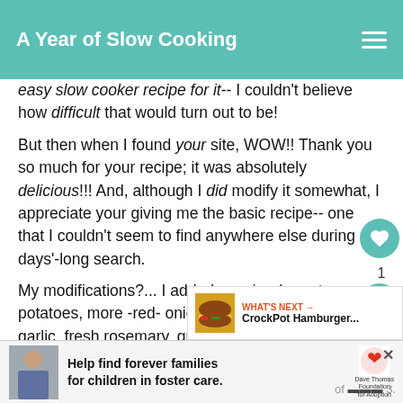A Year of Slow Cooking
easy slow cooker recipe for it-- I couldn't believe how difficult that would turn out to be!
But then when I found your site, WOW!! Thank you so much for your recipe; it was absolutely delicious!!! And, although I did modify it somewhat, I appreciate your giving me the basic recipe-- one that I couldn't seem to find anywhere else during my days'-long search.
My modifications?... I added veggies (carrots, potatoes, more -red- onion); and spices (2 heads garlic, fresh rosemary, ground sage, dried tarragon, fresh thyme, lemon pepper-- mixed together and rubbed over turkey & under skin w/ the salt/pepper-- w/ garlic in cavity and w/ veggies); I added a few thin slices and orange under the skin, too. Also homemade chicken stock (made previously), and only 1/2 a stick of butter.
[Figure (infographic): Advertisement: Help find forever families for children in foster care. Dave Thomas Foundation for Adoption logo and photo of a boy.]
[Figure (infographic): What's Next widget showing CrockPot Hamburger... with food photo thumbnail]